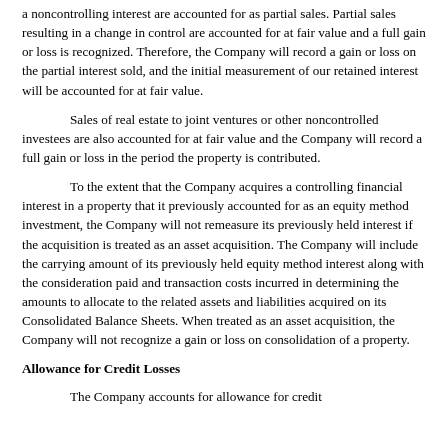a noncontrolling interest are accounted for as partial sales. Partial sales resulting in a change in control are accounted for at fair value and a full gain or loss is recognized. Therefore, the Company will record a gain or loss on the partial interest sold, and the initial measurement of our retained interest will be accounted for at fair value.
Sales of real estate to joint ventures or other noncontrolled investees are also accounted for at fair value and the Company will record a full gain or loss in the period the property is contributed.
To the extent that the Company acquires a controlling financial interest in a property that it previously accounted for as an equity method investment, the Company will not remeasure its previously held interest if the acquisition is treated as an asset acquisition. The Company will include the carrying amount of its previously held equity method interest along with the consideration paid and transaction costs incurred in determining the amounts to allocate to the related assets and liabilities acquired on its Consolidated Balance Sheets. When treated as an asset acquisition, the Company will not recognize a gain or loss on consolidation of a property.
Allowance for Credit Losses
The Company accounts for allowance for credit